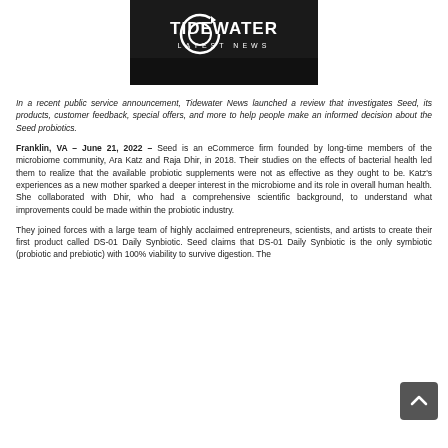[Figure (logo): Tidewater Latest News logo — white text and circular arrow icon on black background]
In a recent public service announcement, Tidewater News launched a review that investigates Seed, its products, customer feedback, special offers, and more to help people make an informed decision about the Seed probiotics.
Franklin, VA – June 21, 2022 – Seed is an eCommerce firm founded by long-time members of the microbiome community, Ara Katz and Raja Dhir, in 2018. Their studies on the effects of bacterial health led them to realize that the available probiotic supplements were not as effective as they ought to be. Katz's experiences as a new mother sparked a deeper interest in the microbiome and its role in overall human health. She collaborated with Dhir, who had a comprehensive scientific background, to understand what improvements could be made within the probiotic industry.
They joined forces with a large team of highly acclaimed entrepreneurs, scientists, and artists to create their first product called DS-01 Daily Synbiotic. Seed claims that DS-01 Daily Synbiotic is the only symbiotic (probiotic and prebiotic) with 100% viability to survive digestion. The